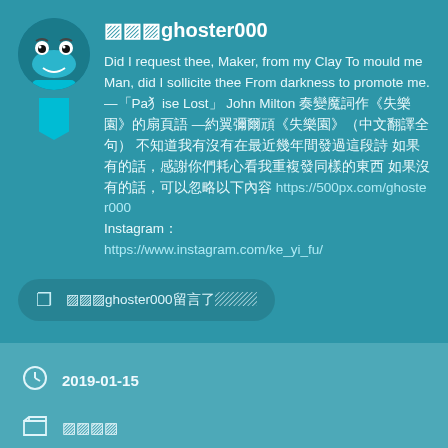🔴🔴🔴ghoster000
Did I request thee, Maker, from my Clay To mould me Man, did I sollicite thee From darkness to promote me. —「Paradise Lost」John Milton 約翰·彌爾頓詩作《失樂園》的扉頁語 —約翰·彌爾頓《失樂園》（中文翻譯全句） 不知道我有沒有在最近幾年間發過這段詩 如果有的話，感謝你們耐心看我重複發同樣的東西 https://500px.com/ghoster000 Instagram： https://www.instagram.com/ke_yi_fu/
🔴🔴🔴ghoster000留言了🔴🔴🔴
2019-01-15
🔴🔴🔴🔴
BestTop Stories...The Way We Were...